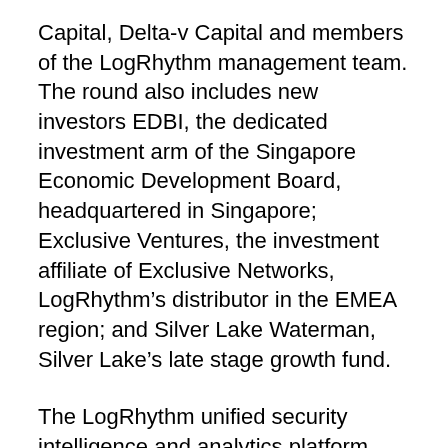Capital, Delta-v Capital and members of the LogRhythm management team. The round also includes new investors EDBI, the dedicated investment arm of the Singapore Economic Development Board, headquartered in Singapore; Exclusive Ventures, the investment affiliate of Exclusive Networks, LogRhythm’s distributor in the EMEA region; and Silver Lake Waterman, Silver Lake’s late stage growth fund.
The LogRhythm unified security intelligence and analytics platform automates the detection, prioritization and neutralization of cyber threats. LogRhythm enables organizations to significantly reduce the